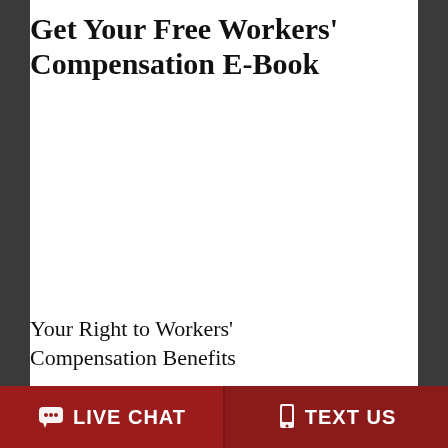Get Your Free Workers' Compensation E-Book
Your Right to Workers' Compensation Benefits
LIVE CHAT
TEXT US